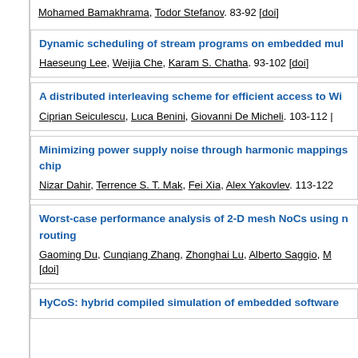Mohamed Bamakhrama, Todor Stefanov. 83-92 [doi]
Dynamic scheduling of stream programs on embedded mul... Haeseung Lee, Weijia Che, Karam S. Chatha. 93-102 [doi]
A distributed interleaving scheme for efficient access to Wi... Ciprian Seiculescu, Luca Benini, Giovanni De Micheli. 103-112 [...]
Minimizing power supply noise through harmonic mappings... chip. Nizar Dahir, Terrence S. T. Mak, Fei Xia, Alex Yakovlev. 113-122
Worst-case performance analysis of 2-D mesh NoCs using ... routing. Gaoming Du, Cunqiang Zhang, Zhonghai Lu, Alberto Saggio, M... [doi]
HyCoS: hybrid compiled simulation of embedded software ...